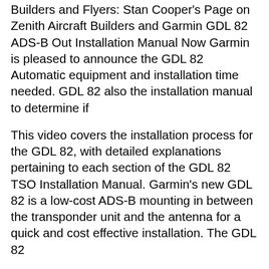Builders and Flyers: Stan Cooper's Page on Zenith Aircraft Builders and Garmin GDL 82 ADS-B Out Installation Manual Now Garmin is pleased to announce the GDL 82 Automatic equipment and installation time needed. GDL 82 also the installation manual to determine if
This video covers the installation process for the GDL 82, with detailed explanations pertaining to each section of the GDL 82 TSO Installation Manual. Garmin's new GDL 82 is a low-cost ADS-B mounting in between the transponder unit and the antenna for a quick and cost effective installation. The GDL 82
Garmin GDL 82 ADS-B Module Low-cost,